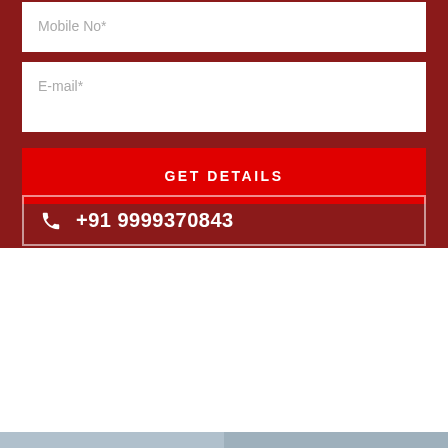Mobile No*
E-mail*
GET DETAILS
+91 9999370843